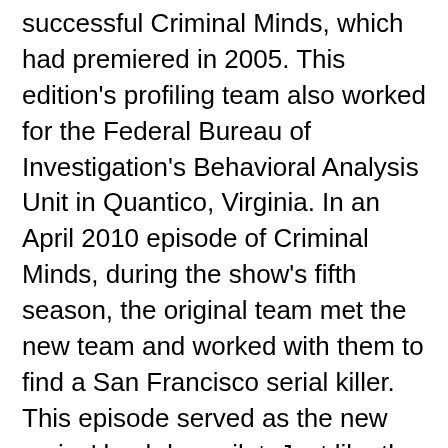successful Criminal Minds, which had premiered in 2005. This edition's profiling team also worked for the Federal Bureau of Investigation's Behavioral Analysis Unit in Quantico, Virginia. In an April 2010 episode of Criminal Minds, during the show's fifth season, the original team met the new team and worked with them to find a San Francisco serial killer. This episode served as the new series' backdoor pilot. Just like the parent series, CBS owned the underlying North American rights, while ABC owned the international rights. The series premiered on February 16, 2011, and filled the Wednesday 10 pm time slot, airing immediately after the original Criminal Minds. CBS cancelled the series on May 17, 2011. The series ends with a cliffhanger. On September 6, 2011 CBS DVD released the complete series as a 4 disc-set. It is packaged as "The DVD Edition". There are numerous special features and two episode commentaries with the cast and crew. The set includes the backdoor pilot